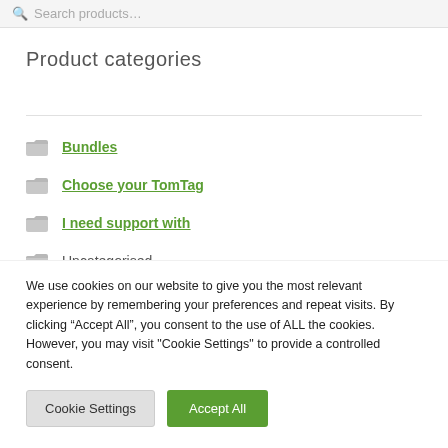Search products…
Product categories
Bundles
Choose your TomTag
I need support with
Uncategorised
We use cookies on our website to give you the most relevant experience by remembering your preferences and repeat visits. By clicking “Accept All”, you consent to the use of ALL the cookies. However, you may visit "Cookie Settings" to provide a controlled consent.
Cookie Settings | Accept All